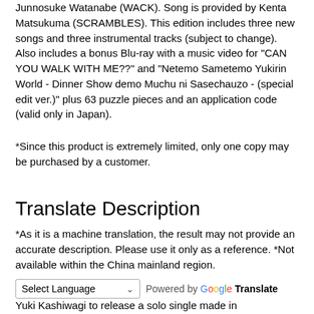Junnosuke Watanabe (WACK). Song is provided by Kenta Matsukuma (SCRAMBLES). This edition includes three new songs and three instrumental tracks (subject to change). Also includes a bonus Blu-ray with a music video for "CAN YOU WALK WITH ME??" and "Netemo Sametemo Yukirin World - Dinner Show demo Muchu ni Sasechauzo - (special edit ver.)" plus 63 puzzle pieces and an application code (valid only in Japan).
*Since this product is extremely limited, only one copy may be purchased by a customer.
Translate Description
*As it is a machine translation, the result may not provide an accurate description. Please use it only as a reference. *Not available within the China mainland region.
Select Language | Powered by Google Translate
Yuki Kashiwagi to release a solo single made in collaboration with Junnosuke Watanabe (WACK). Song is provided by Kenta Matsukuma (SCRAMBLES). This edition includes three new songs